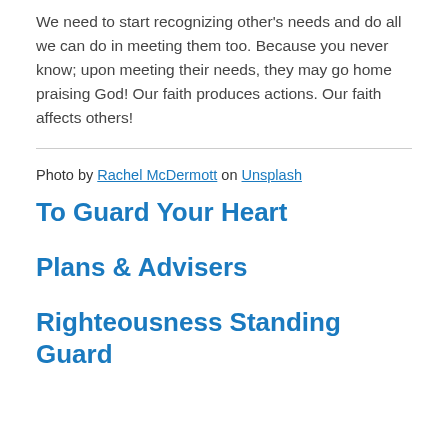We need to start recognizing other's needs and do all we can do in meeting them too. Because you never know; upon meeting their needs, they may go home praising God! Our faith produces actions. Our faith affects others!
Photo by Rachel McDermott on Unsplash
To Guard Your Heart
Plans & Advisers
Righteousness Standing Guard